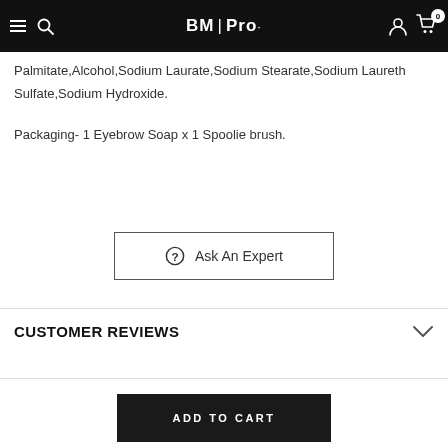BM | Pro
Palmitate,Alcohol,Sodium Laurate,Sodium Stearate,Sodium Laureth Sulfate,Sodium Hydroxide.
Packaging- 1 Eyebrow Soap x 1 Spoolie brush.
Ask An Expert
CUSTOMER REVIEWS
ADD TO CART